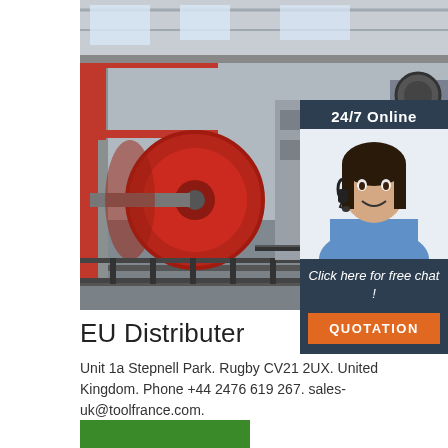[Figure (photo): Industrial factory floor showing a large red cable drum/reel machine on a rail track in a manufacturing facility with red structural frames and industrial equipment]
[Figure (photo): Customer service agent: woman with headset smiling, with dark hair, wearing blue shirt. Panel shows '24/7 Online', 'Click here for free chat!', and orange 'QUOTATION' button on dark navy background]
EU Distributer
Unit 1a Stepnell Park. Rugby CV21 2UX. United Kingdom. Phone +44 2476 619 267. sales-uk@toolfrance.com.